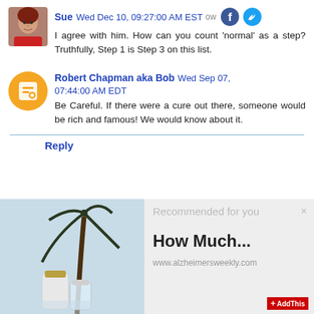Sue Wed Dec 10, 09:27:00 AM EST
I agree with him. How can you count 'normal' as a step? Truthfully, Step 1 is Step 3 on this list.
Robert Chapman aka Bob Wed Sep 07, 07:44:00 AM EDT
Be Careful. If there were a cure out there, someone would be rich and famous! We would know about it.
Reply
[Figure (screenshot): Recommended content panel showing coconut oil jars with palm tree background, titled 'How Much...' from www.alzheimersweekly.com]